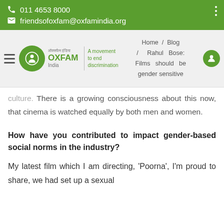011 4653 8000
friendsofoxfam@oxfamindia.org
[Figure (screenshot): Oxfam India website navigation bar with logo, hamburger menu, breadcrumb: Home / Blog / Rahul Bose: Films should be gender sensitive, and user icon]
culture. There is a growing consciousness about this now, that cinema is watched equally by both men and women.
How have you contributed to impact gender-based social norms in the industry?
My latest film which I am directing, 'Poorna', I'm proud to share, we had set up a sexual